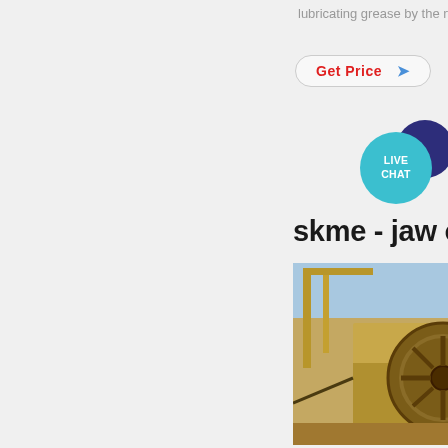lubricating grease by the nozzle t
[Figure (other): Get Price button with red text and blue arrow, pill-shaped border]
[Figure (infographic): Live Chat speech bubble icon - teal circle with LIVE CHAT text and dark navy bubble behind]
skme - jaw crushe
[Figure (photo): Industrial jaw crusher machine photographed outdoors, sandy/dusty beige color, with flywheel visible]
harga umum untuk crusher batu d gujarat; gold mining ball mill mach concentrate crushing machine ma
[Figure (other): Get Price button with red text and blue arrow, pill-shaped border]